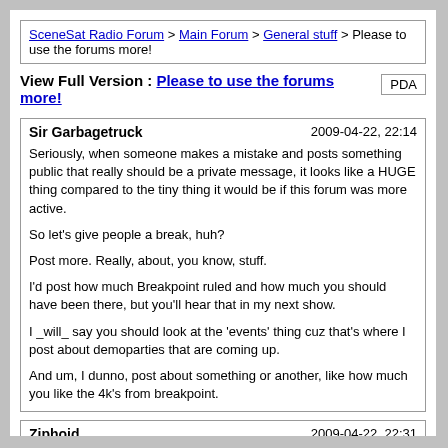SceneSat Radio Forum > Main Forum > General stuff > Please to use the forums more!
View Full Version : Please to use the forums more!
Sir Garbagetruck
2009-04-22, 22:14

Seriously, when someone makes a mistake and posts something public that really should be a private message, it looks like a HUGE thing compared to the tiny thing it would be if this forum was more active.

So let's give people a break, huh?

Post more. Really, about, you know, stuff.

I'd post how much Breakpoint ruled and how much you should have been there, but you'll hear that in my next show.

I _will_ say you should look at the 'events' thing cuz that's where I post about demoparties that are coming up.

And um, I dunno, post about something or another, like how much you like the 4k's from breakpoint.
Ziphoid
2009-04-22, 22:31

Yeah, I agree. Post more. ...and the forum (and the whole site, really) WILL very soon be a lot quicker, once we move over to the new layout we've been working on. Then the forum will actually not be annoyingly slow to use. ;)
Foo1
2009-04-26, 10:53